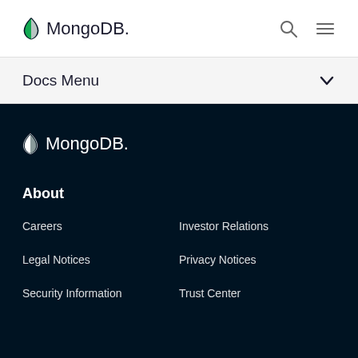MongoDB
Docs Menu
[Figure (logo): MongoDB white logo on dark background]
About
Careers
Investor Relations
Legal Notices
Privacy Notices
Security Information
Trust Center